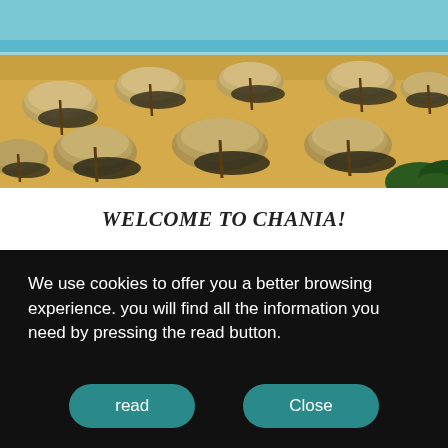[Figure (photo): Aerial view of a sandy beach with thatched straw umbrellas casting dark shadows, with turquoise sea water visible in the background. Multiple beach umbrellas arranged across golden sand. Some green vegetation visible at the bottom right corner.]
WELCOME TO CHANIA!
We use cookies to offer you a better browsing experience. you will find all the information you need by pressing the read button.